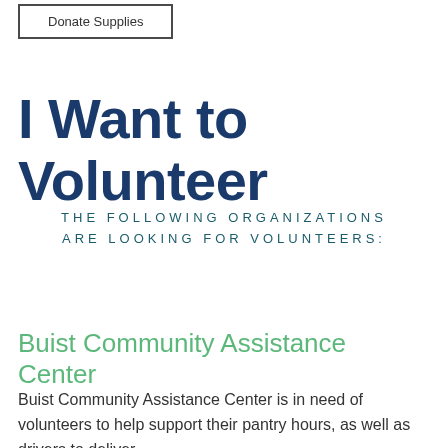Donate Supplies
I Want to Volunteer
THE FOLLOWING ORGANIZATIONS ARE LOOKING FOR VOLUNTEERS:
Buist Community Assistance Center
Buist Community Assistance Center is in need of volunteers to help support their pantry hours, as well as drivers to deliver